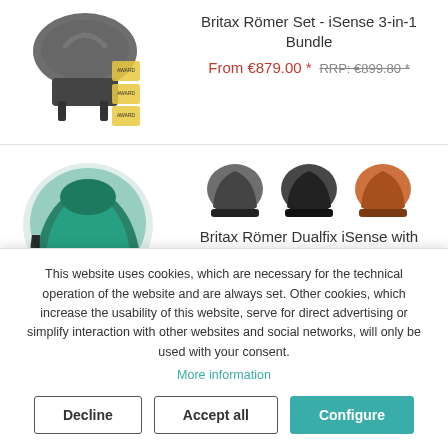[Figure (photo): Britax Römer iSense 3-in-1 Bundle product image showing car seat, base, and award stickers]
Britax Römer Set - iSense 3-in-1 Bundle
From €879.00 * RRP: €899.80 *
[Figure (photo): Britax Römer Dualfix iSense with FlexBase iSense - green car seat main image]
[Figure (photo): Three thumbnail color variants of Britax Römer Dualfix iSense: dark grey, black, orange]
Britax Römer Dualfix iSense with FlexBase iSense
This website uses cookies, which are necessary for the technical operation of the website and are always set. Other cookies, which increase the usability of this website, serve for direct advertising or simplify interaction with other websites and social networks, will only be used with your consent.
More information